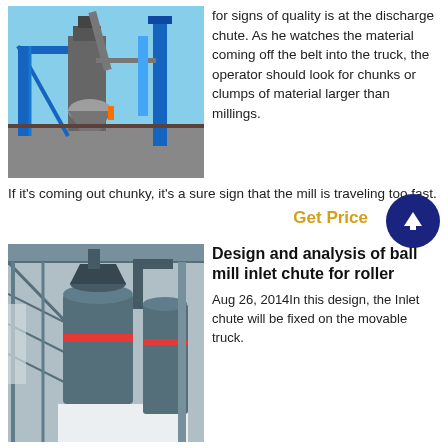[Figure (photo): Industrial milling/grinding equipment installation outdoors with blue metal structures, pipes, and machinery against a clear sky]
for signs of quality is at the discharge chute. As he watches the material coming off the belt into the truck, the operator should look for chunks or clumps of material larger than millings. If it's coming out chunky, it's a sure sign that the mill is traveling too fast.
Get Price
[Figure (photo): Large industrial ball mill or roller mill equipment inside a factory/industrial building with metal framework and columns]
Design and analysis of ball mill inlet chute for roller
Aug 26, 2014In this design, the Inlet chute will be fixed on the movable truck.